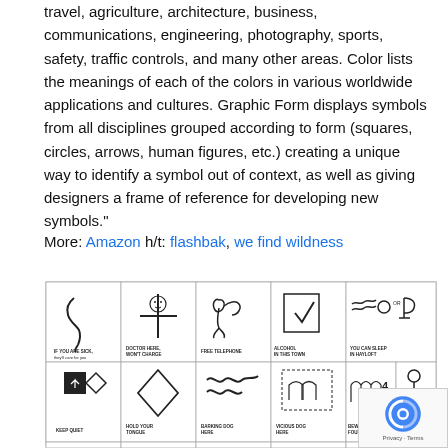travel, agriculture, architecture, business, communications, engineering, photography, sports, safety, traffic controls, and many other areas. Color lists the meanings of each of the colors in various worldwide applications and cultures. Graphic Form displays symbols from all disciplines grouped according to form (squares, circles, arrows, human figures, etc.) creating a unique way to identify a symbol out of context, as well as giving designers a frame of reference for developing new symbols."
More: Amazon h/t: flashbak, we find wildness
[Figure (illustration): A grid of hobo symbols/signs with labels. Row 1: 'IF YOU ARE SICK, they'll care for you', 'DOCTOR HERE, WON'T CHARGE', 'FREE TELEPHONE', 'ALCOHOL IN THIS TOWN', 'YOU CAN SLEEP IN HAYLOFT'. Row 2: 'KEEP QUIET', 'HOLD YOUR TONGUE', 'BARKING DOG HERE', 'VICIOUS DOG HERE', 'BEWARE of FOUR DOGS', 'EASY M... SUCKER...'. Partial third row visible at bottom.]